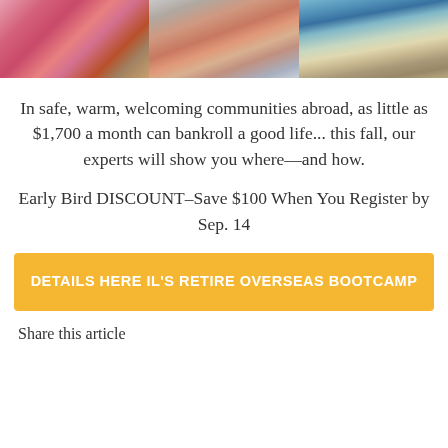[Figure (photo): Three side-by-side photos: flowers in a Mediterranean village, a smiling older couple embracing, and a coastal Mediterranean scene with blue water and terracotta rooftops]
In safe, warm, welcoming communities abroad, as little as $1,700 a month can bankroll a good life... this fall, our experts will show you where—and how.
Early Bird DISCOUNT–Save $100 When You Register by Sep. 14
DETAILS HERE IL'S RETIRE OVERSEAS BOOTCAMP
Share this article